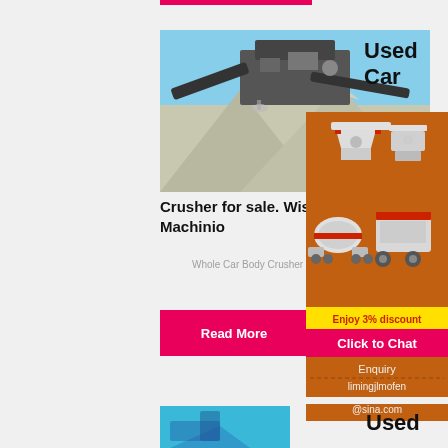[Figure (photo): Pink/red horizontal bar at top]
[Figure (photo): Crusher machine operating on a gravel/aggregate pile under blue sky]
Crusher for sale. Wiscon equip & more | Machinio
Whole Car Body Crusher Used Car Shre...
[Figure (other): Advertisement panel with orange background showing crusher/mill machines, 'Enjoy 3% discount', 'Click to Chat' button, Enquiry section with email limingjlmofen@sina.com]
Used Car
Read More
Used